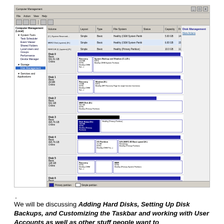[Figure (screenshot): Windows Disk Management console screenshot showing multiple disk drives (Disk 0 through Disk 10) with their partitions, volume labels, sizes, file system types, and status information. The interface shows a typical Windows administrative tool with a left navigation tree and right detail panel.]
.
We will be discussing Adding Hard Disks, Setting Up Disk Backups, and Customizing the Taskbar and working with User Accounts as well as other stuff people want to